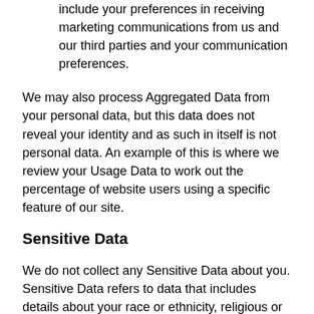include your preferences in receiving marketing communications from us and our third parties and your communication preferences.
We may also process Aggregated Data from your personal data, but this data does not reveal your identity and as such in itself is not personal data. An example of this is where we review your Usage Data to work out the percentage of website users using a specific feature of our site.
Sensitive Data
We do not collect any Sensitive Data about you. Sensitive Data refers to data that includes details about your race or ethnicity, religious or philosophical beliefs, sex life, sexual orientation,